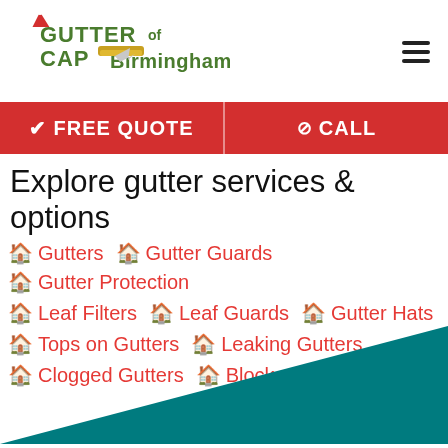[Figure (logo): Gutter Cap of Birmingham logo with a house/gutter illustration and santa hat]
FREE QUOTE
CALL
Explore gutter services & options
Gutters
Gutter Guards
Gutter Protection
Leaf Filters
Leaf Guards
Gutter Hats
Tops on Gutters
Leaking Gutters
Clogged Gutters
Blocked Gutters